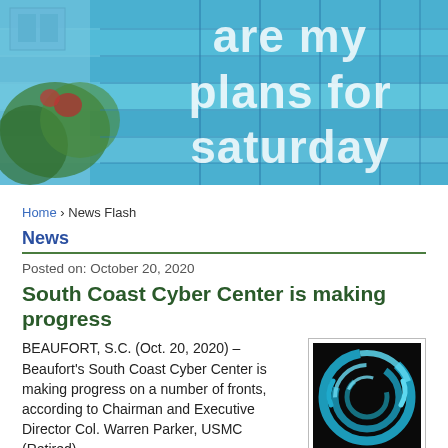[Figure (photo): Header image with colorful mural background and large white text reading 'are my plans for saturday']
Home › News Flash
News
Posted on: October 20, 2020
South Coast Cyber Center is making progress
BEAUFORT, S.C. (Oct. 20, 2020) – Beaufort's South Coast Cyber Center is making progress on a number of fronts, according to Chairman and Executive Director Col. Warren Parker, USMC (Retired).
[Figure (logo): South Coast Cyber Center logo: circular blue arrow-like shapes on black background]
Launched earlier this year as a 501 (c) (3), the South